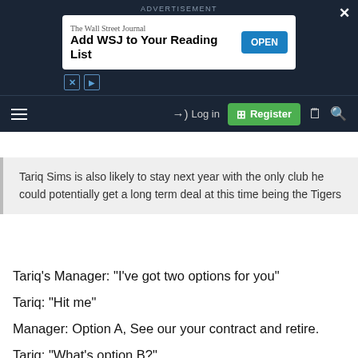[Figure (screenshot): Advertisement banner: The Wall Street Journal - Add WSJ to Your Reading List, with OPEN button]
ADVERTISEMENT
[Figure (screenshot): Navigation bar with hamburger menu, Log in button, Register button, article icon, and search icon]
Tariq Sims is also likely to stay next year with the only club he could potentially get a long term deal at this time being the Tigers
Tariq's Manager: “I’ve got two options for you”
Tariq: “Hit me”
Manager: Option A, See our your contract and retire.
Tariq: “What’s option B?”
Manager: “4 year deal, $1m per year”